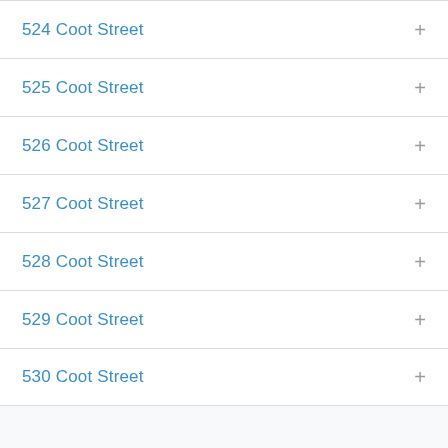524 Coot Street
525 Coot Street
526 Coot Street
527 Coot Street
528 Coot Street
529 Coot Street
530 Coot Street